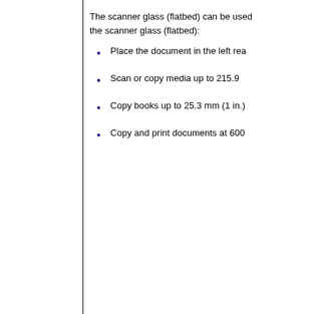The scanner glass (flatbed) can be used the scanner glass (flatbed):
Place the document in the left rea
Scan or copy media up to 215.9
Copy books up to 25.3 mm (1 in.)
Copy and print documents at 600